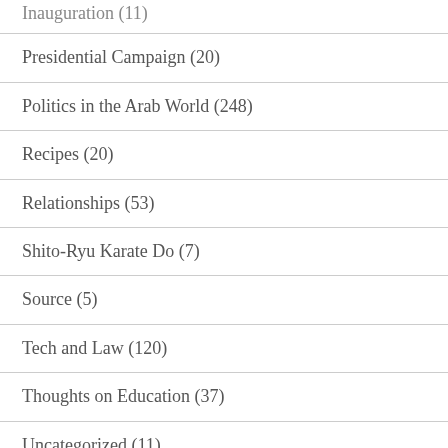Inauguration (11)
Presidential Campaign (20)
Politics in the Arab World (248)
Recipes (20)
Relationships (53)
Shito-Ryu Karate Do (7)
Source (5)
Tech and Law (120)
Thoughts on Education (37)
Uncategorized (11)